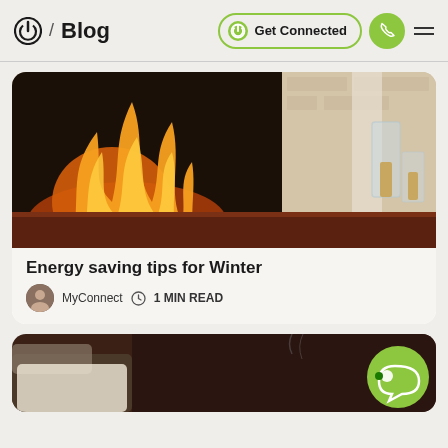/ Blog  Get Connected
[Figure (photo): A fireplace with burning flames, logs glowing red/orange, set against a brick background with wood flooring and glass candle holders to the right]
Energy saving tips for Winter
MyConnect  1 MIN READ
[Figure (photo): A cozy living room scene with a fireplace in the background, a chair with a blanket, a green chat bubble overlay icon in the bottom right corner]